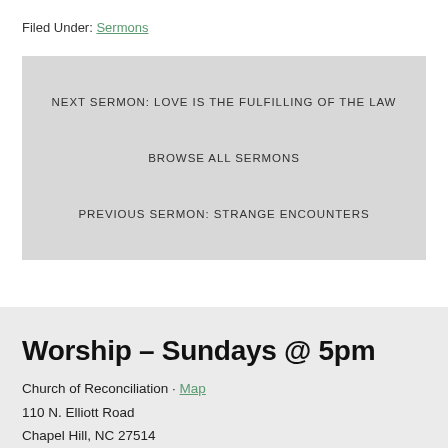Filed Under: Sermons
NEXT SERMON: LOVE IS THE FULFILLING OF THE LAW
BROWSE ALL SERMONS
PREVIOUS SERMON: STRANGE ENCOUNTERS
Worship – Sundays @ 5pm
Church of Reconciliation · Map
110 N. Elliott Road
Chapel Hill, NC 27514